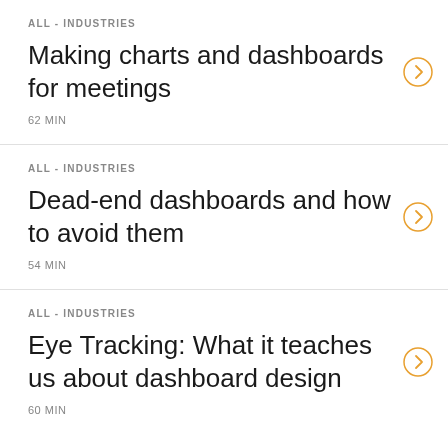ALL - INDUSTRIES
Making charts and dashboards for meetings
62 MIN
ALL - INDUSTRIES
Dead-end dashboards and how to avoid them
54 MIN
ALL - INDUSTRIES
Eye Tracking: What it teaches us about dashboard design
60 MIN